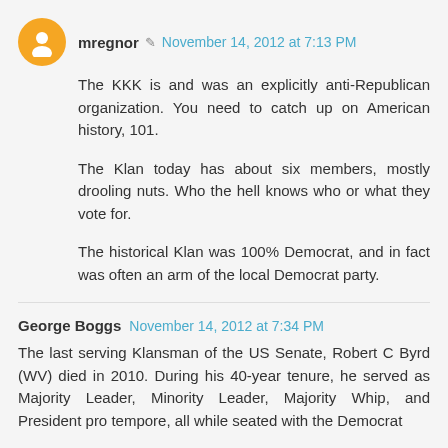mregnor · November 14, 2012 at 7:13 PM
The KKK is and was an explicitly anti-Republican organization. You need to catch up on American history, 101.
The Klan today has about six members, mostly drooling nuts. Who the hell knows who or what they vote for.
The historical Klan was 100% Democrat, and in fact was often an arm of the local Democrat party.
George Boggs November 14, 2012 at 7:34 PM
The last serving Klansman of the US Senate, Robert C Byrd (WV) died in 2010. During his 40-year tenure, he served as Majority Leader, Minority Leader, Majority Whip, and President pro tempore, all while seated with the Democrat